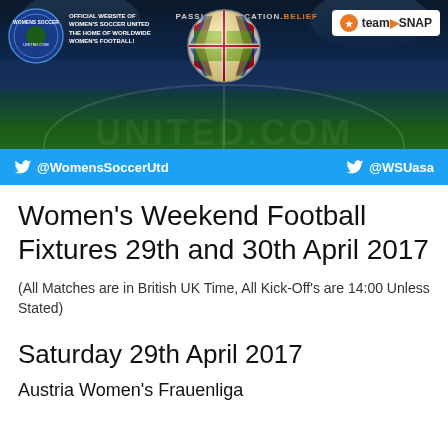[Figure (photo): Women's Soccer United banner with stadium background, soccer ball with international flags, Twitter handles @WomensSoccerUtd and @WSUasa, TeamSnap logo, and tagline PASSION.DEDICATION.BELIEF]
Women's Weekend Football Fixtures 29th and 30th April 2017
(All Matches are in British UK Time, All Kick-Off's are 14:00 Unless Stated)
Saturday 29th April 2017
Austria Women's Frauenliga